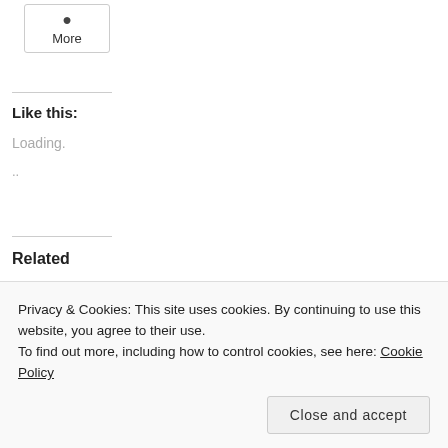[Figure (other): A button/widget labeled 'More' with a small dot/icon above the text, inside a rounded rectangle border]
Like this:
Loading.
..
Related
Tha
Privacy & Cookies: This site uses cookies. By continuing to use this website, you agree to their use.
To find out more, including how to control cookies, see here: Cookie Policy
Close and accept